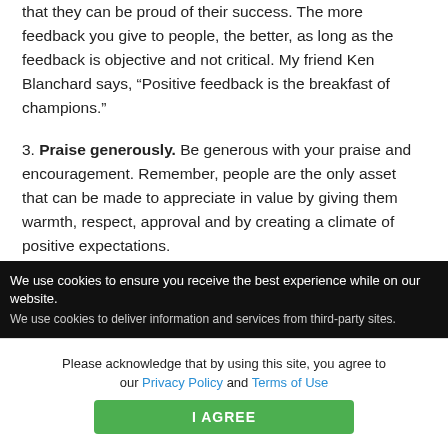that they can be proud of their success. The more feedback you give to people, the better, as long as the feedback is objective and not critical. My friend Ken Blanchard says, “Positive feedback is the breakfast of champions.”
3. Praise generously. Be generous with your praise and encouragement. Remember, people are the only asset that can be made to appreciate in value by giving them warmth, respect, approval and by creating a climate of positive expectations.
4. Set high standards for yourself. What companies
We use cookies to ensure you receive the best experience while on our website. We use cookies to deliver information and services from third-party sites.
Please acknowledge that by using this site, you agree to our Privacy Policy and Terms of Use